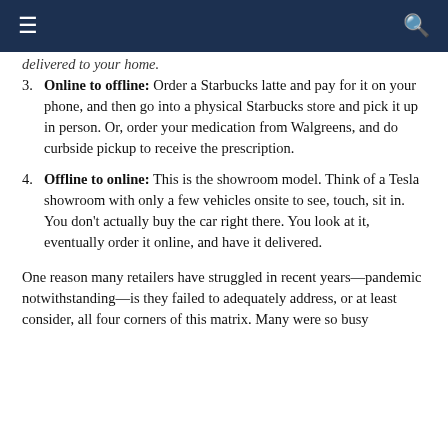≡  Q
Online to offline: Order a Starbucks latte and pay for it on your phone, and then go into a physical Starbucks store and pick it up in person. Or, order your medication from Walgreens, and do curbside pickup to receive the prescription.
Offline to online: This is the showroom model. Think of a Tesla showroom with only a few vehicles onsite to see, touch, sit in. You don't actually buy the car right there. You look at it, eventually order it online, and have it delivered.
One reason many retailers have struggled in recent years—pandemic notwithstanding—is they failed to adequately address, or at least consider, all four corners of this matrix. Many were so busy